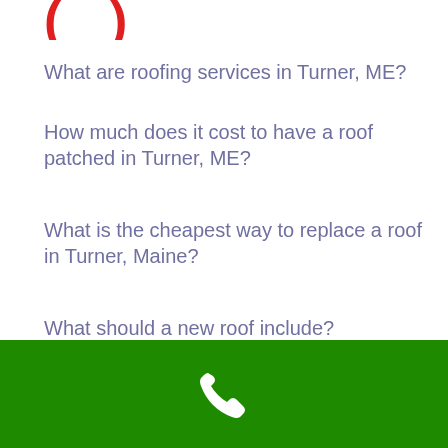[Figure (other): Red decorative bracket/parenthesis symbols at top of page]
What are roofing services in Turner, ME?
How much does it cost to have a roof patched in Turner, ME?
What is the cheapest way to replace a roof in Turner, Maine?
What should a new roof include?
How can I afford a new roof?
How can I get a new roof for free in Turner, 04282?
How can I fix my roof with no money?
Is it OK to put new shingles over old?
What do insurance adjusters look for on roofs?
How much does it cost to replace a $500...
[Figure (other): Green footer bar with white phone icon]